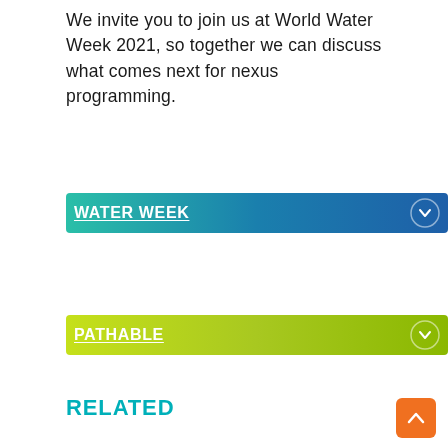We invite you to join us at World Water Week 2021, so together we can discuss what comes next for nexus programming.
WATER WEEK
PATHABLE
RELATED